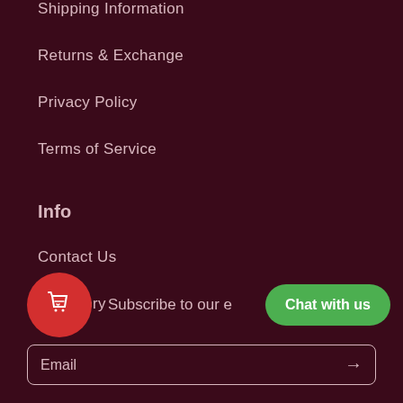Shipping Information
Returns & Exchange
Privacy Policy
Terms of Service
Info
Contact Us
Our Story
Subscribe to our e
Chat with us
Email